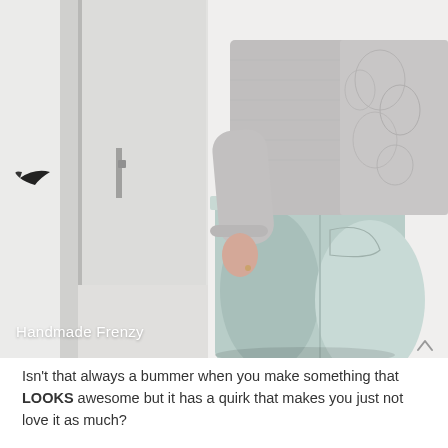[Figure (photo): Back view of a person wearing a grey textured lace-panel sweater and light blue skinny jeans, standing in front of a white door. Watermark reads 'Handmade Frenzy' in white text at bottom left.]
Isn't that always a bummer when you make something that LOOKS awesome but it has a quirk that makes you just not love it as much?